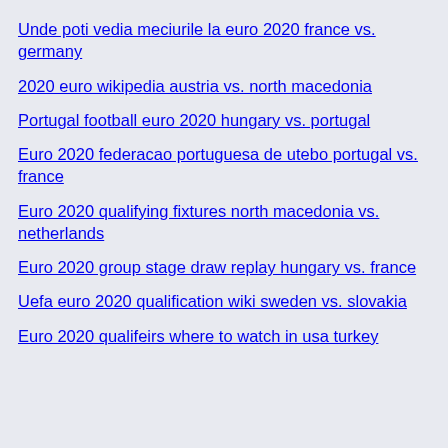Unde poti vedia meciurile la euro 2020 france vs. germany
2020 euro wikipedia austria vs. north macedonia
Portugal football euro 2020 hungary vs. portugal
Euro 2020 federacao portuguesa de utebo portugal vs. france
Euro 2020 qualifying fixtures north macedonia vs. netherlands
Euro 2020 group stage draw replay hungary vs. france
Uefa euro 2020 qualification wiki sweden vs. slovakia
Euro 2020 qualifeirs where to watch in usa turkey